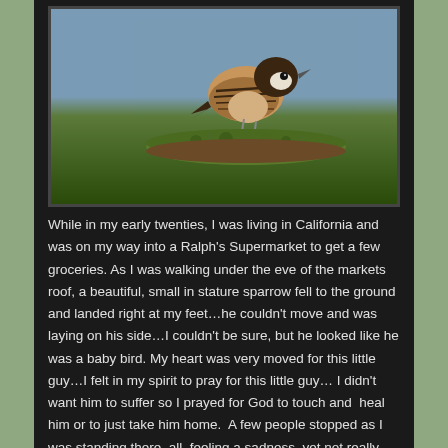[Figure (photo): A sparrow perched on a mossy log, photographed in close-up with a blurred green background. The bird has brown and black striped plumage with a white cheek patch and dark cap.]
While in my early twenties, I was living in California and was on my way into a Ralph's Supermarket to get a few groceries. As I was walking under the eve of the markets roof, a beautiful, small in stature sparrow fell to the ground and landed right at my feet…he couldn't move and was laying on his side…I couldn't be sure, but he looked like he was a baby bird. My heart was very moved for this little guy…I felt in my spirit to pray for this little guy… I didn't want him to suffer so I prayed for God to touch and  heal him or to just take him home.  A few people stopped as I was standing there, all  feeling a sadness, yet not really knowing what to do. As people came and went, I still stood there and then, to my amazement, this little guy got